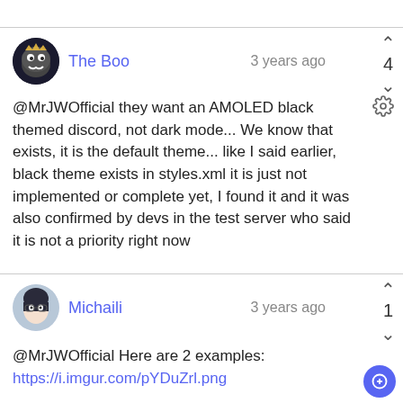The Boo — 3 years ago — vote: 4
@MrJWOfficial they want an AMOLED black themed discord, not dark mode... We know that exists, it is the default theme... like I said earlier, black theme exists in styles.xml it is just not implemented or complete yet, I found it and it was also confirmed by devs in the test server who said it is not a priority right now
Michaili — 3 years ago — vote: 1
@MrJWOfficial Here are 2 examples:
https://i.imgur.com/pYDuZrl.png